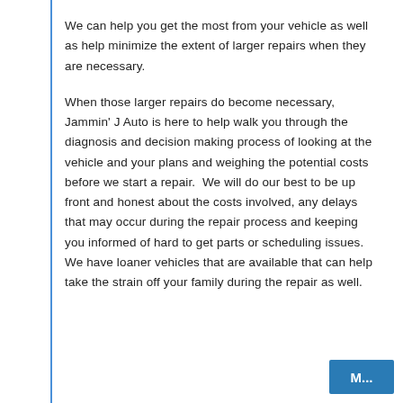We can help you get the most from your vehicle as well as help minimize the extent of larger repairs when they are necessary.
When those larger repairs do become necessary, Jammin' J Auto is here to help walk you through the diagnosis and decision making process of looking at the vehicle and your plans and weighing the potential costs before we start a repair.  We will do our best to be up front and honest about the costs involved, any delays that may occur during the repair process and keeping you informed of hard to get parts or scheduling issues.  We have loaner vehicles that are available that can help take the strain off your family during the repair as well.